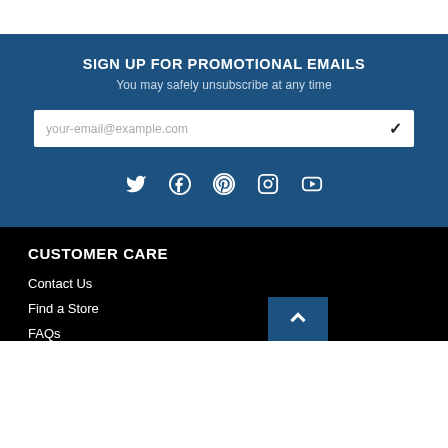SIGN UP FOR PROMOTIONAL EMAILS
You may safely unsubscribe at any time
your-email@example.com
[Figure (infographic): Social media icons row: Twitter, Facebook, Pinterest, Instagram, YouTube]
CUSTOMER CARE
Contact Us
Find a Store
FAQs